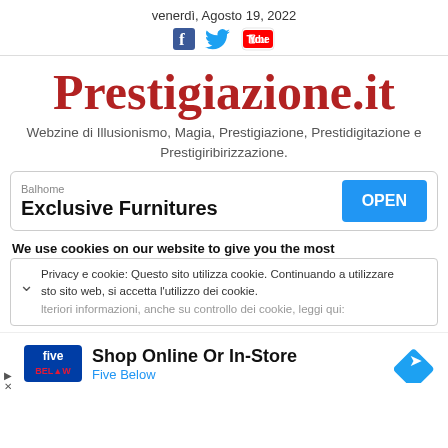venerdì, Agosto 19, 2022
Prestigiazione.it
Webzine di Illusionismo, Magia, Prestigiazione, Prestidigitazione e Prestigiribirizzazione.
[Figure (infographic): Advertisement banner: Balhome - Exclusive Furnitures with OPEN button]
We use cookies on our website to give you the most
Privacy e cookie: Questo sito utilizza cookie. Continuando a utilizzare sto sito web, si accetta l'utilizzo dei cookie. lteriori informazioni, anche su controllo dei cookie, leggi qui:
[Figure (infographic): Advertisement: Five Below - Shop Online Or In-Store]